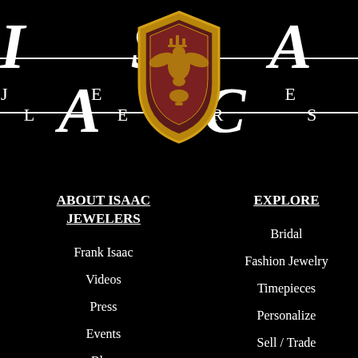[Figure (logo): Isaac Jewelers logo with large italic ISAAC text, JEWELERS text below, horizontal lines, and a gold/brown heraldic shield crest centered over the text]
ABOUT ISAAC JEWELERS
Frank Isaac
Videos
Press
Events
Blog
EXPLORE
Bridal
Fashion Jewelry
Timepieces
Personalize
Sell / Trade